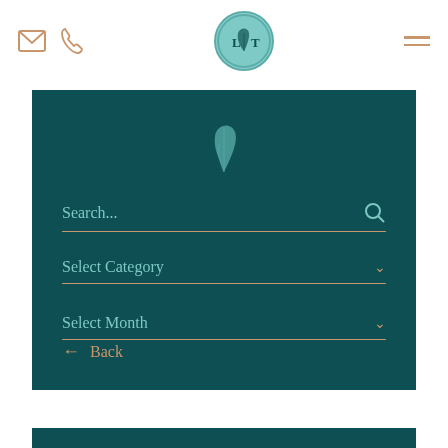[Figure (logo): Website header with email envelope icon, phone icon on the left, circular LIT logo in center with feather, and hamburger menu on right]
[Figure (screenshot): Dark teal search/filter panel with feather icon, Search input field, Select Category dropdown, Select Month dropdown, and Back navigation button]